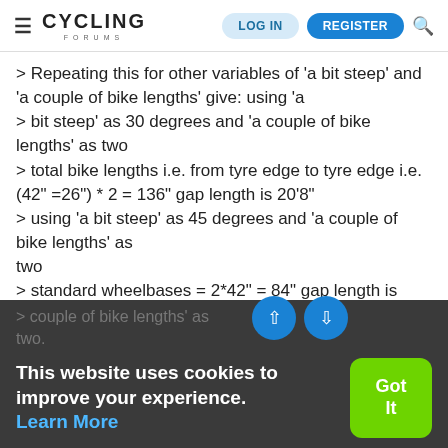CYCLING FORUMS — LOG IN | REGISTER
> Repeating this for other variables of 'a bit steep' and 'a couple of bike lengths' give: using 'a
> bit steep' as 30 degrees and 'a couple of bike lengths' as two
> total bike lengths i.e. from tyre edge to tyre edge i.e. (42" =26") * 2 = 136" gap length is 20'8"
> using 'a bit steep' as 45 degrees and 'a couple of bike lengths' as
two
> standard wheelbases = 2*42" = 84" gap length is 10'11"
using 'a bit steep' as 45 degrees and 'a
> couple of bike lengths' as
two.
> total bike lengths i.e. from tyre edge to tyre edge i.e. (42" =26") * 2 = 136" gap lenght is 17
>
This website uses cookies to improve your experience. Learn More
Got It